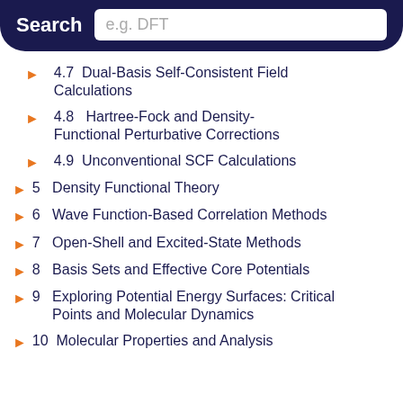Search  e.g. DFT
4.7  Dual-Basis Self-Consistent Field Calculations
4.8  Hartree-Fock and Density-Functional Perturbative Corrections
4.9  Unconventional SCF Calculations
5  Density Functional Theory
6  Wave Function-Based Correlation Methods
7  Open-Shell and Excited-State Methods
8  Basis Sets and Effective Core Potentials
9  Exploring Potential Energy Surfaces: Critical Points and Molecular Dynamics
10  Molecular Properties and Analysis